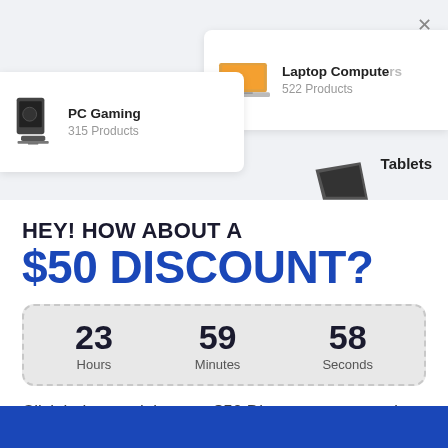[Figure (screenshot): E-commerce website screenshot showing product category cards: PC Gaming (315 Products), Laptop Computers (522 Products), Tablets, with a close (X) button in the top right corner.]
HEY! HOW ABOUT A
$50 DISCOUNT?
23 Hours  59 Minutes  58 Seconds
Click below to claim your $50 Discount on any order over $500 and get your code immediately.